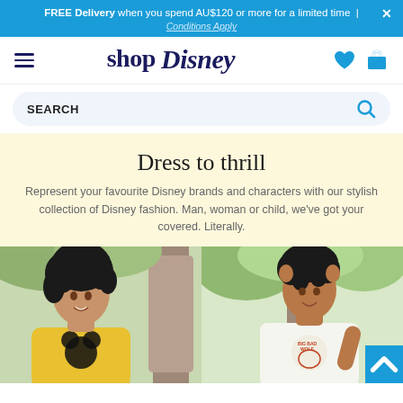FREE Delivery when you spend AU$120 or more for a limited time | ×
Conditions Apply
[Figure (screenshot): shopDisney navigation bar with hamburger menu, shopDisney logo, heart and bag icons]
[Figure (screenshot): Search bar with SEARCH label and magnifying glass icon]
Dress to thrill
Represent your favourite Disney brands and characters with our stylish collection of Disney fashion. Man, woman or child, we've got your covered. Literally.
[Figure (photo): Young woman smiling wearing yellow Mickey Mouse t-shirt, standing near a tree]
[Figure (photo): Young man smiling wearing white Big Bad Wolf graphic t-shirt, standing outdoors]